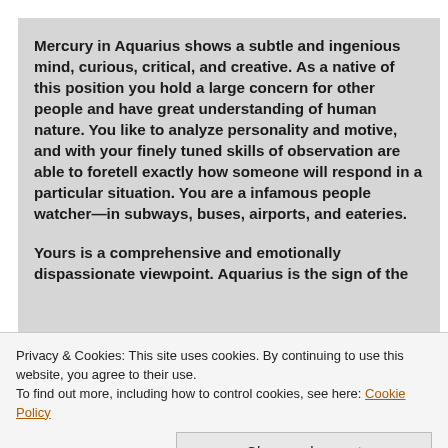Mercury in Aquarius shows a subtle and ingenious mind, curious, critical, and creative. As a native of this position you hold a large concern for other people and have great understanding of human nature. You like to analyze personality and motive, and with your finely tuned skills of observation are able to foretell exactly how someone will respond in a particular situation. You are a infamous people watcher—in subways, buses, airports, and eateries.
Yours is a comprehensive and emotionally dispassionate viewpoint. Aquarius is the sign of the
Privacy & Cookies: This site uses cookies. By continuing to use this website, you agree to their use.
To find out more, including how to control cookies, see here: Cookie Policy
Close and accept
progressive professions—psychology, inventions, the business of communications and sciences. Sometimes you may seem strange, for your ideas are